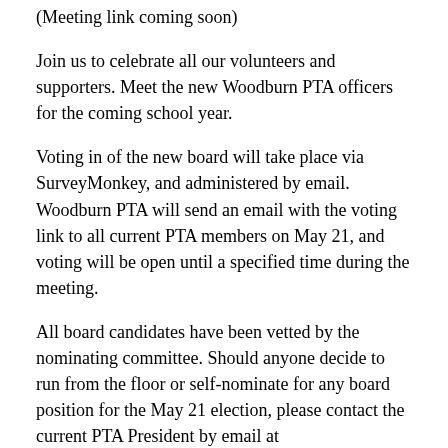(Meeting link coming soon)
Join us to celebrate all our volunteers and supporters. Meet the new Woodburn PTA officers for the coming school year.
Voting in of the new board will take place via SurveyMonkey, and administered by email. Woodburn PTA will send an email with the voting link to all current PTA members on May 21, and voting will be open until a specified time during the meeting.
All board candidates have been vetted by the nominating committee. Should anyone decide to run from the floor or self-nominate for any board position for the May 21 election, please contact the current PTA President by email at president@woodburnpta.com with your intent to run and your qualifications.
We look forward to seeing all PTA member at the virtual